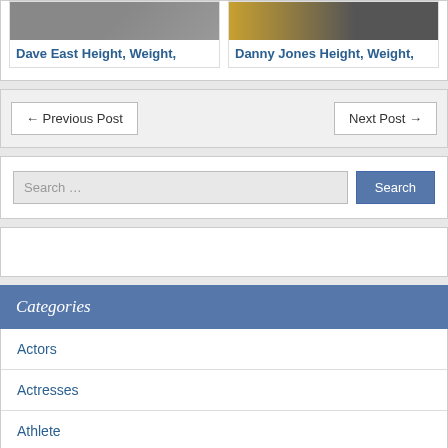[Figure (photo): Photo of Dave East, celebrity photo in dark outfit]
Dave East Height, Weight,
[Figure (photo): Photo of Danny Jones, celebrity photo in dark outfit with yellow/gold background]
Danny Jones Height, Weight,
← Previous Post
Next Post →
Search …
Search
Categories
Actors
Actresses
Athlete
Basketball Player
Boxer